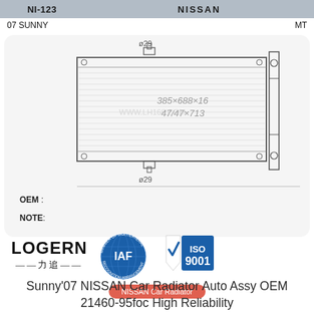NI-123   NISSAN
07 SUNNY   MT
[Figure (engineering-diagram): Technical schematic of a car radiator showing front view with dimensions 385×688×16 and 47/47×713, with inlet/outlet ports labeled Ø29 at top and bottom, side mount bracket shown on right side.]
OEM :
NOTE:
[Figure (logo): LOGERN brand logo with Chinese characters below, IAF Member of Multilateral Recognition Arrangement certification badge, and ISO 9001 certification badge]
NISSAN Car Radiator
Sunny'07 NISSAN Car Radiator Auto Assy OEM 21460-95foc High Reliability